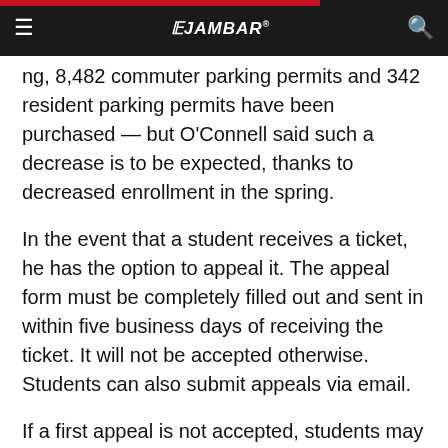THE JAMBAR — ing, 8,482 commuter parking permits and 342
resident parking permits have been purchased — but O'Connell said such a decrease is to be expected, thanks to decreased enrollment in the spring.
In the event that a student receives a ticket, he has the option to appeal it. The appeal form must be completely filled out and sent in within five business days of receiving the ticket. It will not be accepted otherwise. Students can also submit appeals via email.
If a first appeal is not accepted, students may request a second appeal in which they sit down and talk with O'Connell.
“If they have no prior tickets and have purchased a